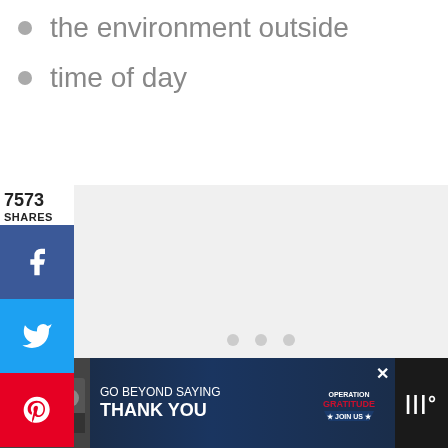the environment outside
time of day
[Figure (other): Social media share sidebar with Facebook, Twitter, Pinterest buttons showing 7573 shares, and an image carousel placeholder with three dots]
[Figure (other): Advertisement banner: Operation Gratitude - Go Beyond Saying Thank You - Join Us]
7.6K
[Figure (other): Heart/like button showing 7.6K and share button]